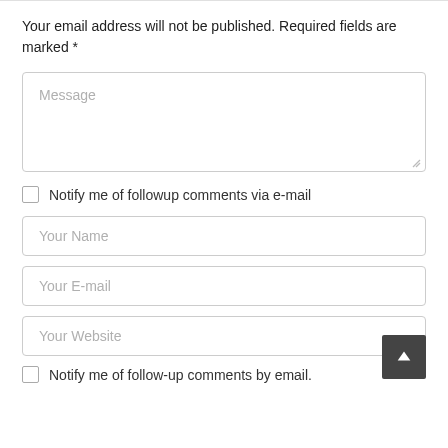Your email address will not be published. Required fields are marked *
[Figure (screenshot): Message textarea input field with placeholder text 'Message' and resize handle]
Notify me of followup comments via e-mail
[Figure (screenshot): Your Name input field]
[Figure (screenshot): Your E-mail input field]
[Figure (screenshot): Your Website input field]
Notify me of follow-up comments by email.